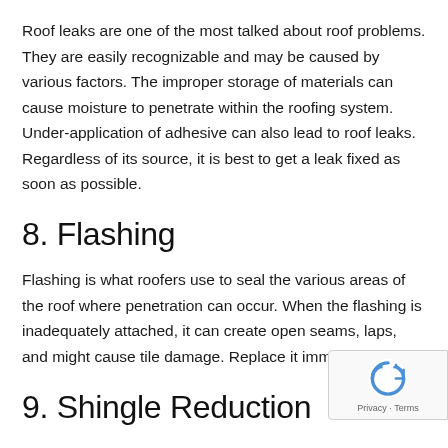Roof leaks are one of the most talked about roof problems. They are easily recognizable and may be caused by various factors. The improper storage of materials can cause moisture to penetrate within the roofing system. Under-application of adhesive can also lead to roof leaks. Regardless of its source, it is best to get a leak fixed as soon as possible.
8. Flashing
Flashing is what roofers use to seal the various areas of the roof where penetration can occur. When the flashing is inadequately attached, it can create open seams, laps, and might cause tile damage. Replace it immediately!
9. Shingle Reduction